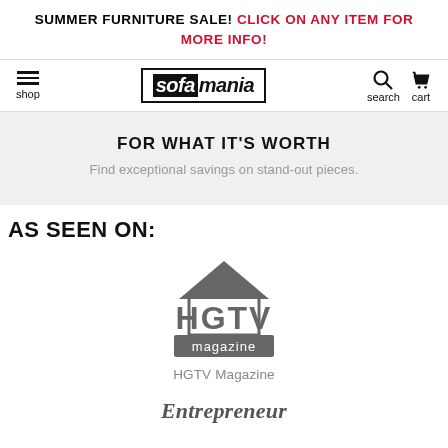SUMMER FURNITURE SALE! CLICK ON ANY ITEM FOR MORE INFO!
[Figure (logo): Sofamania website navigation bar with hamburger menu (shop), sofamania logo, search and cart icons]
FOR WHAT IT'S WORTH
Find exceptional savings on stand-out pieces.
AS SEEN ON:
[Figure (logo): HGTV Magazine logo - house icon above large HGTV text with 'magazine' in a dark box below]
HGTV Magazine
[Figure (logo): Entrepreneur magazine logo in italic serif font]